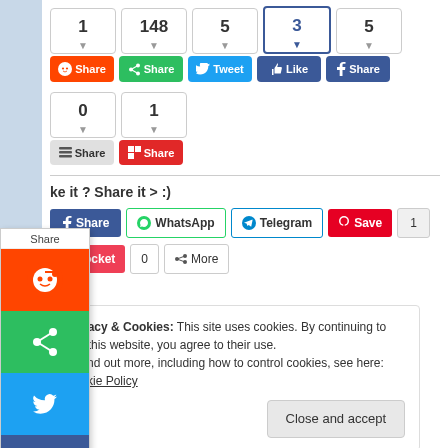[Figure (screenshot): Social media share buttons UI showing share counts (1, 148, 5, 3, 5) and buttons for Reddit Share, Share, Tweet, Like, Facebook Share]
[Figure (screenshot): Second row of share counts (0, 1) with Share and Flipboard Share buttons]
ke it ? Share it > :)
[Figure (screenshot): Share buttons row: Share (blue), WhatsApp, Telegram, Pinterest Save with count 1]
[Figure (screenshot): Pocket share button with count 0, and More button]
[Figure (screenshot): Floating side share bar with Share label and icons for Reddit, Share, Twitter, Facebook, Buffer, Flipboard]
Privacy & Cookies: This site uses cookies. By continuing to use this website, you agree to their use.
To find out more, including how to control cookies, see here: Cookie Policy
Close and accept